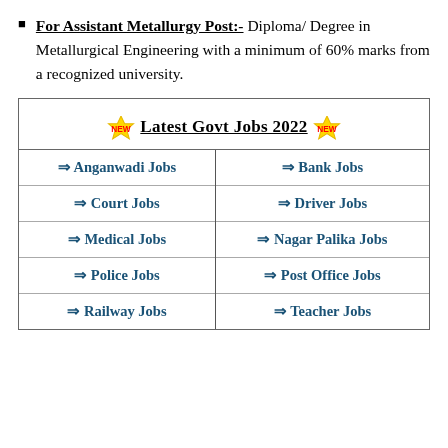For Assistant Metallurgy Post:- Diploma/ Degree in Metallurgical Engineering with a minimum of 60% marks from a recognized university.
| Latest Govt Jobs 2022 |  |
| --- | --- |
| ⇒ Anganwadi Jobs | ⇒ Bank Jobs |
| ⇒ Court Jobs | ⇒ Driver Jobs |
| ⇒ Medical Jobs | ⇒ Nagar Palika Jobs |
| ⇒ Police Jobs | ⇒ Post Office Jobs |
| ⇒ Railway Jobs | ⇒ Teacher Jobs |